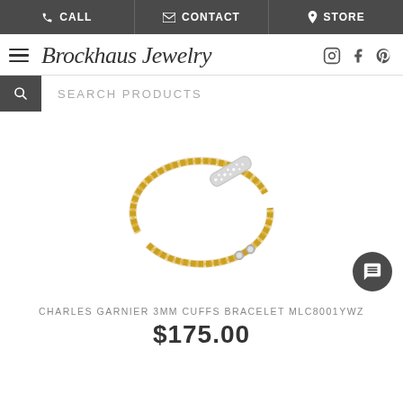CALL   CONTACT   STORE
Brockhaus Jewelry
SEARCH PRODUCTS
[Figure (photo): Charles Garnier 3MM cuffs bracelet MLC8001YWZ — a gold woven cable cuff bracelet with a silver diamond-encrusted bar connector, shown on white background.]
CHARLES GARNIER 3MM CUFFS BRACELET MLC8001YWZ
$175.00